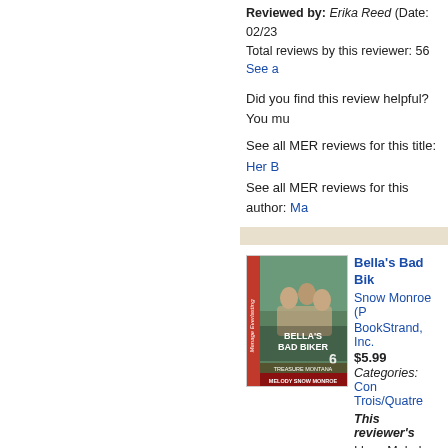Reviewed by: Erika Reed (Date: 02/23... Total reviews by this reviewer: 56 See a...
Did you find this review helpful? You mu...
See all MER reviews for this title: Her B... See all MER reviews for this author: Ma...
[Figure (illustration): Book cover for Bella's Bad Bikers by Melody Snow Monroe, showing three shirtless men outdoors, with red spine strip reading Menage Everlasting, number 6 on cover]
Bella's Bad Bik... Snow Monroe (P... BookStrand, Inc... $5.99 Categories: Con... Trois/Quatre This reviewer's... I love Melody Sno... enjoyed reading ab... wait for the next b...
Reviewed by: Erika Reed (Date: 02/23... Total reviews by this reviewer: 56 See a...